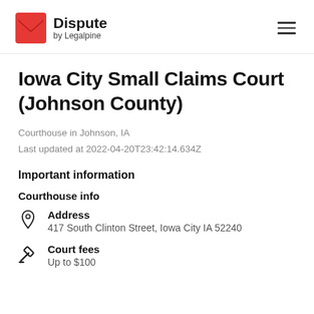Dispute by Legalpine
Iowa City Small Claims Court (Johnson County)
Courthouse in Johnson, IA
Last updated at 2022-04-20T23:42:14.634Z
Important information
Courthouse info
Address
417 South Clinton Street, Iowa City IA 52240
Court fees
Up to $100